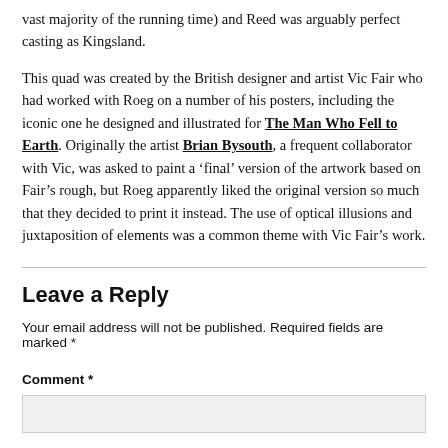vast majority of the running time) and Reed was arguably perfect casting as Kingsland.
This quad was created by the British designer and artist Vic Fair who had worked with Roeg on a number of his posters, including the iconic one he designed and illustrated for The Man Who Fell to Earth. Originally the artist Brian Bysouth, a frequent collaborator with Vic, was asked to paint a ‘final’ version of the artwork based on Fair’s rough, but Roeg apparently liked the original version so much that they decided to print it instead. The use of optical illusions and juxtaposition of elements was a common theme with Vic Fair’s work.
Leave a Reply
Your email address will not be published. Required fields are marked *
Comment *